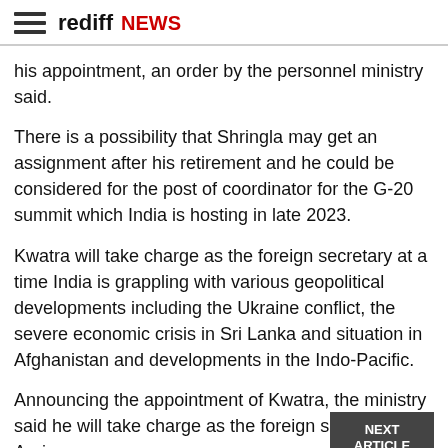rediff NEWS
his appointment, an order by the personnel ministry said.
There is a possibility that Shringla may get an assignment after his retirement and he could be considered for the post of coordinator for the G-20 summit which India is hosting in late 2023.
Kwatra will take charge as the foreign secretary at a time India is grappling with various geopolitical developments including the Ukraine conflict, the severe economic crisis in Sri Lanka and situation in Afghanistan and developments in the Indo-Pacific.
Announcing the appointment of Kwatra, the ministry said he will take charge as the foreign secretary on April
Before his diplomatic posting to Nepal in 2020, he served as the Ambassador of India to France from August 2017 to February 2020.
Kwatra's stint in Nepal saw the ties between the two countries going back on track after they came under severe strain following the boundary dispute.